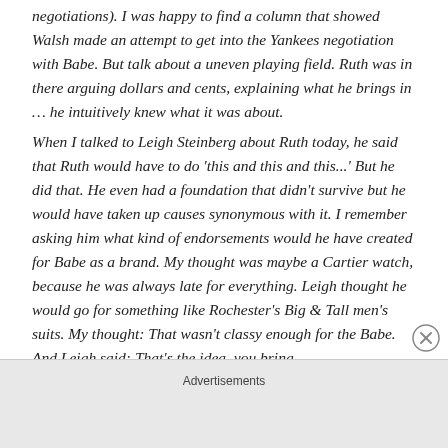negotiations). I was happy to find a column that showed Walsh made an attempt to get into the Yankees negotiation with Babe. But talk about a uneven playing field. Ruth was in there arguing dollars and cents, explaining what he brings in ... he intuitively knew what it was about.
When I talked to Leigh Steinberg about Ruth today, he said that Ruth would have to do 'this and this and this...' But he did that. He even had a foundation that didn't survive but he would have taken up causes synonymous with it. I remember asking him what kind of endorsements would he have created for Babe as a brand. My thought was maybe a Cartier watch, because he was always late for everything. Leigh thought he would go for something like Rochester's Big & Tall men's suits. My thought: That wasn't classy enough for the Babe. And Leigh said: That's the idea, you bring
Advertisements